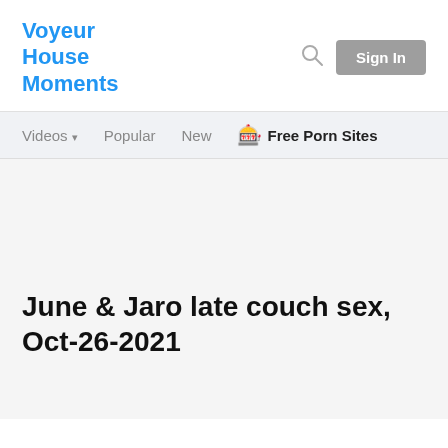Voyeur House Moments
Videos | Popular | New | 🎰 Free Porn Sites
June & Jaro late couch sex, Oct-26-2021